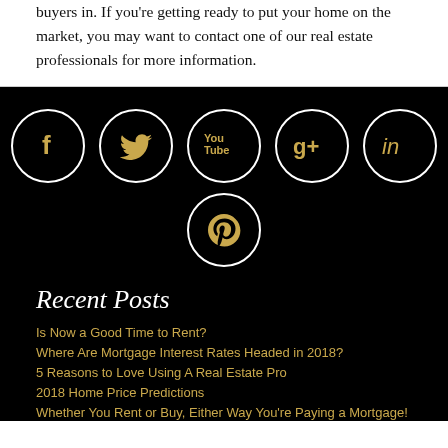buyers in. If you're getting ready to put your home on the market, you may want to contact one of our real estate professionals for more information.
[Figure (illustration): Six social media icons in circular white-bordered buttons on black background: Facebook (f), Twitter (bird), YouTube (You Tube), Google+ (g+), LinkedIn (in), Pinterest (p). All icons are gold colored.]
Recent Posts
Is Now a Good Time to Rent?
Where Are Mortgage Interest Rates Headed in 2018?
5 Reasons to Love Using A Real Estate Pro
2018 Home Price Predictions
Whether You Rent or Buy, Either Way You're Paying a Mortgage!